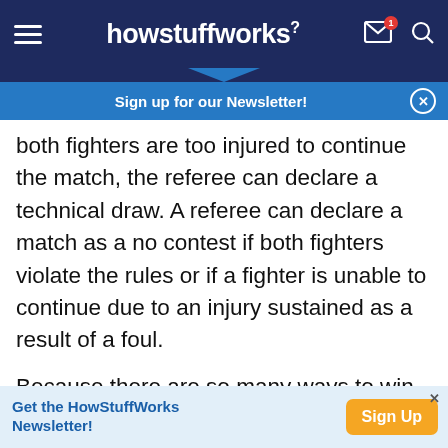howstuffworks
Sign up for our Newsletter!
both fighters are too injured to continue the match, the referee can declare a technical draw. A referee can declare a match as a no contest if both fighters violate the rules or if a fighter is unable to continue due to an injury sustained as a result of a foul.
Because there are so many ways to win (or lose) a fight, bouts in the UFC can be very exciting. A fight may seem to be a one-sided affair while both athletes are standing but completely change when
[Figure (screenshot): HowStuffWorks newsletter advertisement banner at bottom of page]